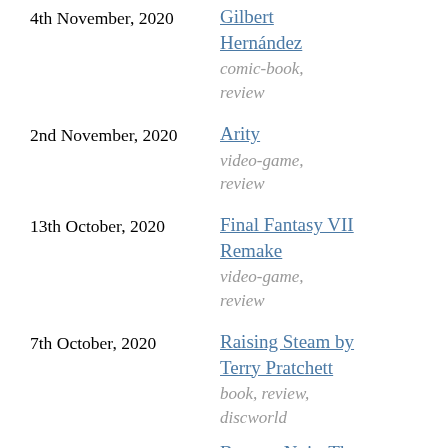4th November, 2020 — Gilbert Hernández — comic-book, review
2nd November, 2020 — Arity — video-game, review
13th October, 2020 — Final Fantasy VII Remake — video-game, review
7th October, 2020 — Raising Steam by Terry Pratchett — book, review, discworld
Batman Noir: The ...